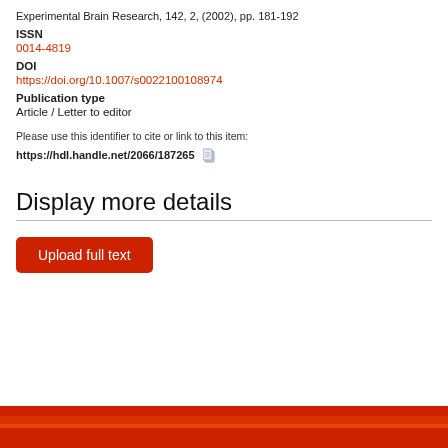Experimental Brain Research, 142, 2, (2002), pp. 181-192
ISSN
0014-4819
DOI
https://doi.org/10.1007/s0022100108974
Publication type
Article / Letter to editor
Please use this identifier to cite or link to this item:
https://hdl.handle.net/2066/187265
Display more details
[Figure (other): Upload full text button - red rounded rectangle button]
[Figure (other): Red/orange footer bar at bottom of page]